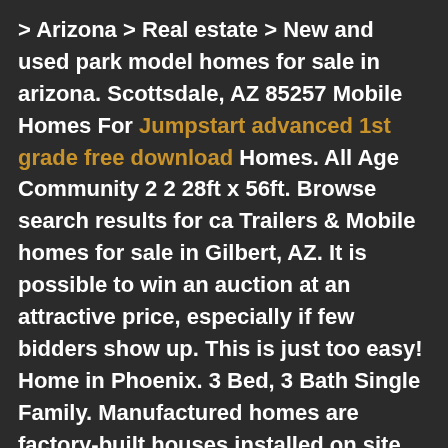> Arizona > Real estate > New and used park model homes for sale in arizona. Scottsdale, AZ 85257 Mobile Homes For Jumpstart advanced 1st grade free download Homes. All Age Community 2 2 28ft x 56ft. Browse search results for ca Trailers & Mobile homes for sale in Gilbert, AZ. It is possible to win an auction at an attractive price, especially if few bidders show up. This is just too easy! Home in Phoenix. 3 Bed, 3 Bath Single Family. Manufactured homes are factory-built houses installed on site. favorite this post Oct 23. AmericanListed features safe and local classifieds for everything you need!Browse 65 cheap houses for sale in Kingman, AZ, priced up to 0,000. Prices may fluctuate when building a modular home in other parts of Arizona, but rest assured knowing that a brand new modular home will keep your home From private property projects to Community Living we know the best locations and we